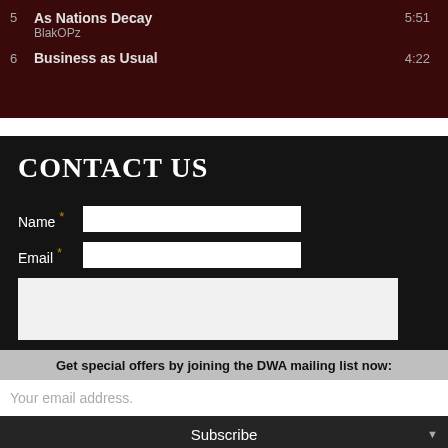| # | Title/Artist | Duration |
| --- | --- | --- |
| 5 | As Nations Decay
BlakOPz | 5:51 |
| 6 | Business as Usual | 4:22 |
CONTACT US
Name * [input field]
Email * [input field]
[textarea]
Get special offers by joining the DWA mailing list now:
Your email address.
Subscribe